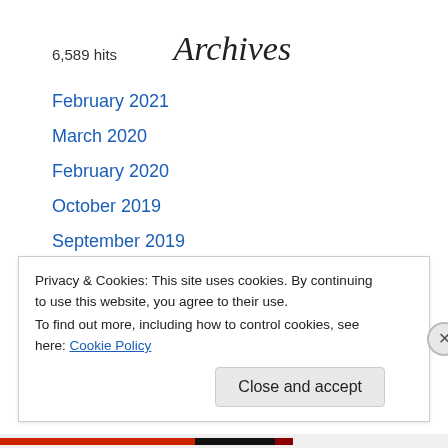6,589 hits
Archives
February 2021
March 2020
February 2020
October 2019
September 2019
August 2019
April 2018
Privacy & Cookies: This site uses cookies. By continuing to use this website, you agree to their use.
To find out more, including how to control cookies, see here: Cookie Policy
Close and accept